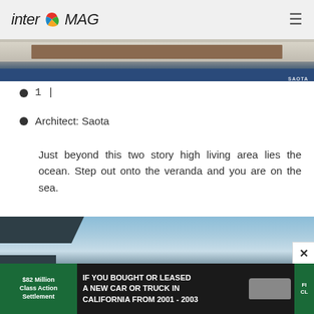inter MAG
[Figure (photo): Architectural interior photo showing a long table or shelf against a wall, with SAOTA watermark in bottom right corner]
1 |
Architect: Saota
Just beyond this two story high living area lies the ocean. Step out onto the veranda and you are on the sea.
[Figure (photo): Exterior architectural photo of a modern building with large overhanging roof against a blue sky with wispy clouds]
[Figure (photo): Advertisement banner: $82 Million Class Action Settlement - IF YOU BOUGHT OR LEASED A NEW CAR OR TRUCK IN CALIFORNIA FROM 2001 - 2003]